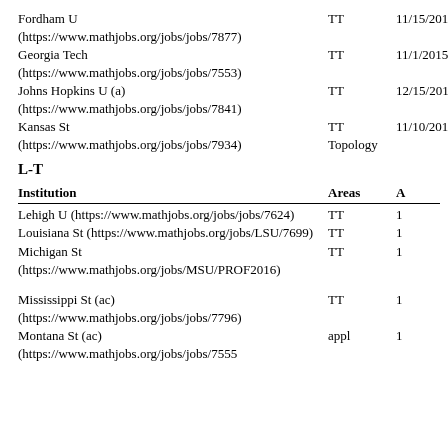Fordham U (https://www.mathjobs.org/jobs/jobs/7877)  TT  11/15/2015
Georgia Tech (https://www.mathjobs.org/jobs/jobs/7553)  TT  11/1/2015
Johns Hopkins U (a) (https://www.mathjobs.org/jobs/jobs/7841)  TT  12/15/2015
Kansas St (https://www.mathjobs.org/jobs/jobs/7934)  TT Topology  11/10/2015
L-T
| Institution | Areas | A... |
| --- | --- | --- |
| Lehigh U (https://www.mathjobs.org/jobs/jobs/7624) | TT | 1... |
| Louisiana St (https://www.mathjobs.org/jobs/LSU/7699) | TT | 1... |
| Michigan St (https://www.mathjobs.org/jobs/MSU/PROF2016) | TT | 1... |
| Mississippi St (ac) (https://www.mathjobs.org/jobs/jobs/7796) | TT | 1... |
| Montana St (ac) (https://www.mathjobs.org/jobs/jobs/7555...) | appl | 1... |